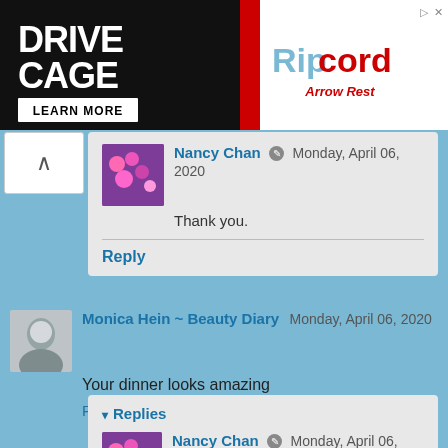[Figure (infographic): Drive Cage advertisement banner for Ripcord Arrow Rest product. Black background on left with white text 'DRIVE CAGE' and 'LEARN MORE' button. Red and white on right with Ripcord logo and arrow rest image.]
Nancy Chan  Monday, April 06, 2020
Thank you.
Reply
Monica Hein ~ Beauty Diary  Monday, April 06, 2020
Your dinner looks amazing
Reply
▾ Replies
Nancy Chan  Monday, April 06, 2020
Thank you, Monica.